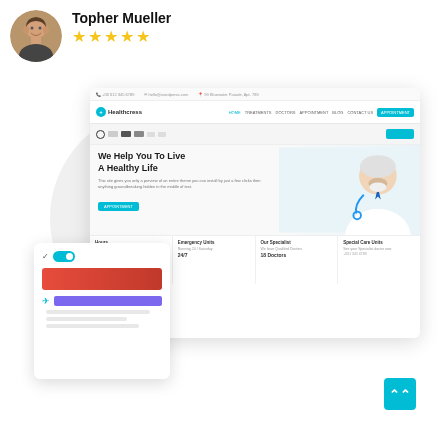[Figure (photo): Circular avatar photo of a smiling man (Topher Mueller)]
Topher Mueller
[Figure (other): Five gold star rating]
[Figure (screenshot): Screenshot mockup of a medical/healthcare website called Healthcress showing a hero section with text 'We Help You To Live A Healthy Life', a doctor image, navigation, contact bar, stats bar with Emergency Units 24/7 and 18 Doctors, and floating UI card elements with a red bar, purple bar, toggle, and paper plane icon. A teal scroll-to-top button is visible in the bottom right.]